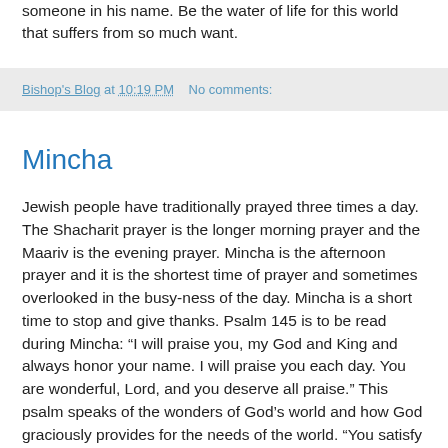someone in his name. Be the water of life for this world that suffers from so much want.
Bishop's Blog at 10:19 PM   No comments:
Mincha
Jewish people have traditionally prayed three times a day. The Shacharit prayer is the longer morning prayer and the Maariv is the evening prayer. Mincha is the afternoon prayer and it is the shortest time of prayer and sometimes overlooked in the busy-ness of the day. Mincha is a short time to stop and give thanks. Psalm 145 is to be read during Mincha: “I will praise you, my God and King and always honor your name. I will praise you each day. You are wonderful, Lord, and you deserve all praise.” This psalm speaks of the wonders of God’s world and how God graciously provides for the needs of the world. “You satisfy the desires of all your worshipers and you come to save them when they ask for help.”